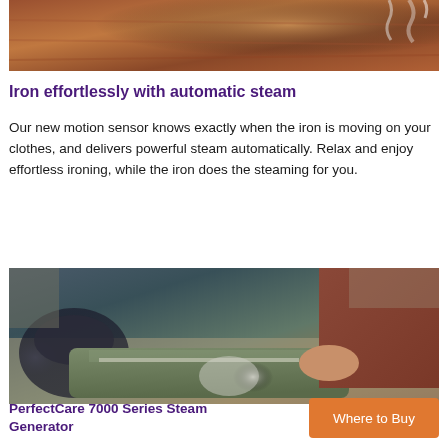[Figure (photo): Close-up photo of an iron steaming over a rust/brown textured fabric surface]
Iron effortlessly with automatic steam
Our new motion sensor knows exactly when the iron is moving on your clothes, and delivers powerful steam automatically. Relax and enjoy effortless ironing, while the iron does the steaming for you.
[Figure (photo): Person ironing/steaming green trousers on the floor with visible steam, wearing dark red/maroon outfit, with a black bag nearby]
PerfectCare 7000 Series Steam Generator
Where to Buy